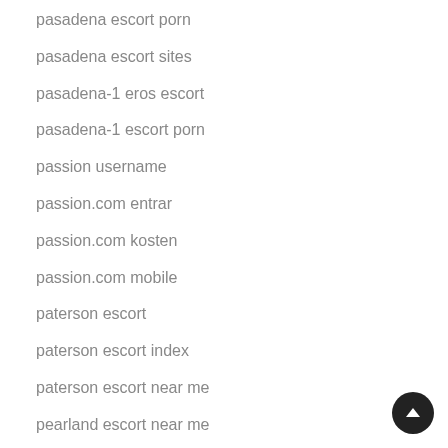pasadena escort porn
pasadena escort sites
pasadena-1 eros escort
pasadena-1 escort porn
passion username
passion.com entrar
passion.com kosten
passion.com mobile
paterson escort
paterson escort index
paterson escort near me
pearland escort near me
pembroke-pines eros escort
pembroke-pines escort index